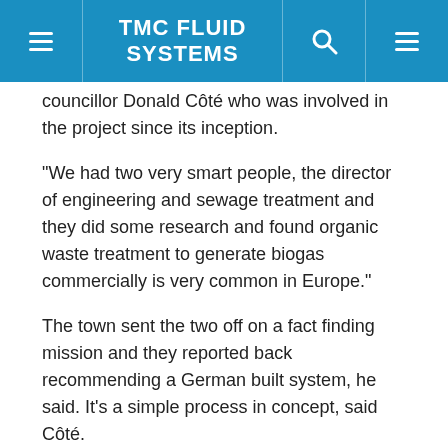TMC FLUID SYSTEMS
councillor Donald Côté who was involved in the project since its inception.
"We had two very smart people, the director of engineering and sewage treatment and they did some research and found organic waste treatment to generate biogas commercially is very common in Europe."
The town sent the two off on a fact finding mission and they reported back recommending a German built system, he said. It's a simple process in concept, said Côté.
"You mix some sewage in with some organic waste, add some heat and let the bacteria do their job," he said. "It's like making wine in some ways. Then you just keep going."
With the project announced, the municipality is getting enquiries from all over Canada and the U.S.
"New York is thinking the same way," he said. "I think we're the only one in North America but there may be a plant in California. We're really writing the book on this. We've done some